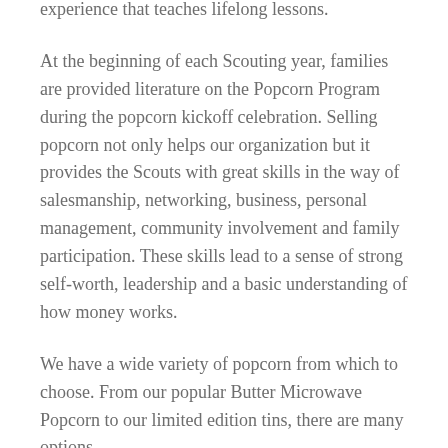experience that teaches lifelong lessons.
At the beginning of each Scouting year, families are provided literature on the Popcorn Program during the popcorn kickoff celebration. Selling popcorn not only helps our organization but it provides the Scouts with great skills in the way of salesmanship, networking, business, personal management, community involvement and family participation. These skills lead to a sense of strong self-worth, leadership and a basic understanding of how money works.
We have a wide variety of popcorn from which to choose. From our popular Butter Microwave Popcorn to our limited edition tins, there are many options.
We know, however, that some people just can't eat popcorn. For those folks who wish to support Scouts but don't want the popcorn, you can buy popcorn donations...